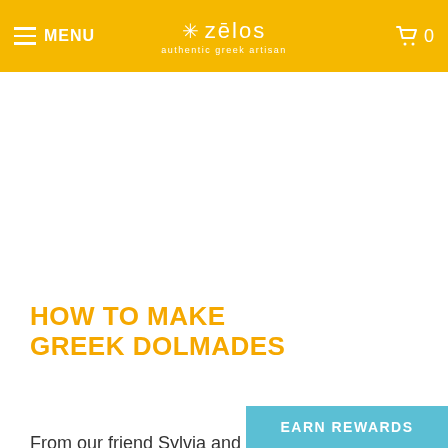MENU | zēlos authentic greek artisan | 0
HOW TO MAKE GREEK DOLMADES
From our friend Sylvia and the Cinci Greek Panegyri
EARN REWARDS